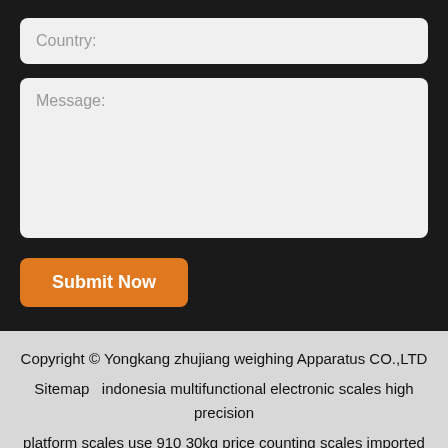Country:
Message:
Submit Now
Copyright © Yongkang zhujiang weighing Apparatus CO.,LTD Sitemap   indonesia multifunctional electronic scales high precision   platform scales use 910 30kg price counting scales imported transformer   australia counting scales pictures china high precision